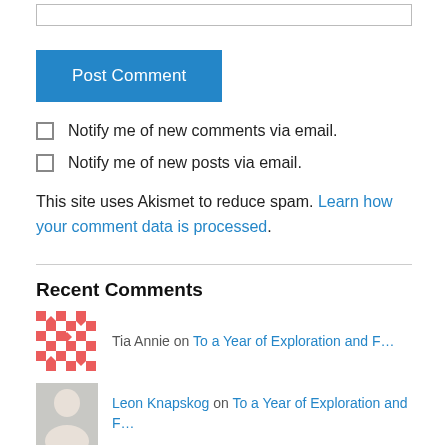[Figure (other): Text input bar (comment form field)]
Post Comment
Notify me of new comments via email.
Notify me of new posts via email.
This site uses Akismet to reduce spam. Learn how your comment data is processed.
Recent Comments
Tia Annie on To a Year of Exploration and F…
Leon Knapskog on To a Year of Exploration and F…
julielynchrunner on Spiced (& la Mexican) Hot Choc…